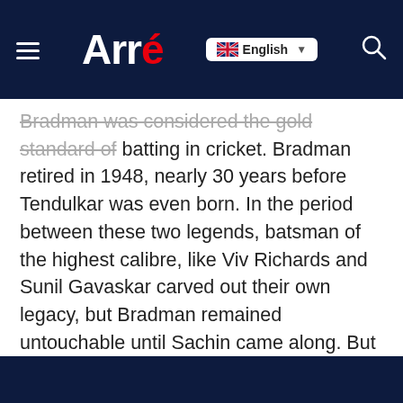Arré — English
Bradman was considered the gold standard of batting in cricket. Bradman retired in 1948, nearly 30 years before Tendulkar was even born. In the period between these two legends, batsman of the highest calibre, like Viv Richards and Sunil Gavaskar carved out their own legacy, but Bradman remained untouchable until Sachin came along. But it's only been six years since Sachin's retirement, and Kohli's already been considered the heir-apparent for a few years now.
Tendulkar left behind giant shoes to fill, but Kohli laced them up before he could even take off his